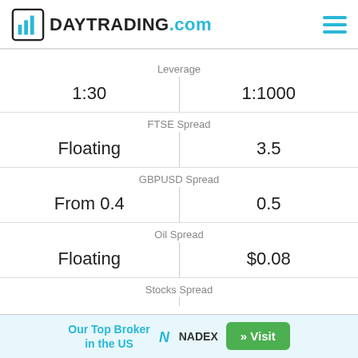DAYTRADING.com
| Column 1 | Column 2 |
| --- | --- |
| Leverage |  |
| 1:30 | 1:1000 |
| FTSE Spread |  |
| Floating | 3.5 |
| GBPUSD Spread |  |
| From 0.4 | 0.5 |
| Oil Spread |  |
| Floating | $0.08 |
| Stocks Spread |  |
| Floating | Variable |
| Forex |  |
| Trade an extensive list of | Trade dozens of online |
Our Top Broker in the US  NADEX  » Visit